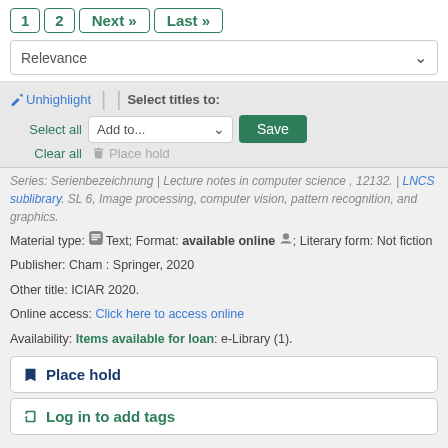1  2  Next »  Last »
Relevance
✏ Unhighlight  |  | Select titles to:  Select all  Add to...  Save  Clear all  🔖 Place hold
Series: Serienbezeichnung | Lecture notes in computer science , 12132. | LNCS sublibrary. SL 6, Image processing, computer vision, pattern recognition, and graphics.
Material type: Text; Format: available online ; Literary form: Not fiction
Publisher: Cham : Springer, 2020
Other title: ICIAR 2020.
Online access: Click here to access online
Availability: Items available for loan: e-Library (1).
🔖 Place hold
🏷 Log in to add tags